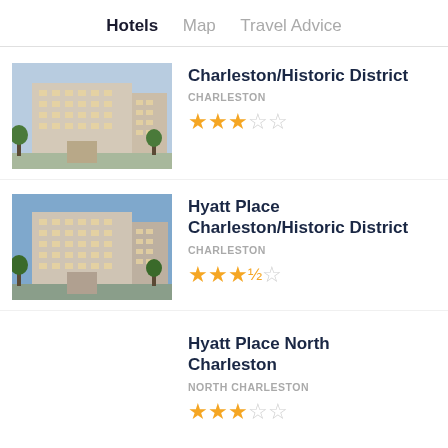Hotels  Map  Travel Advice
Charleston/Historic District
CHARLESTON
★★★☆☆ (3 of 5 stars)
Hyatt Place Charleston/Historic District
CHARLESTON
★★★★☆ (3.5 of 5 stars)
Hyatt Place North Charleston
NORTH CHARLESTON
★★★☆☆ (3 of 5 stars)